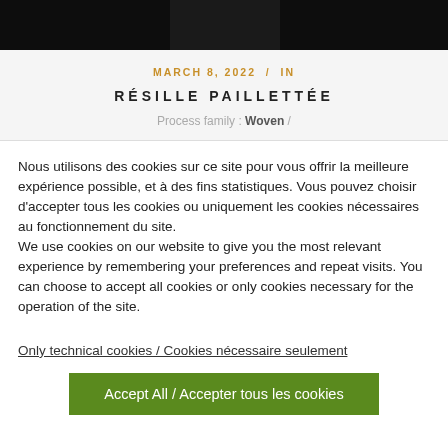[Figure (photo): Close-up photo of dark sequined or beaded net fabric (résille paillettée)]
MARCH 8, 2022 / IN
RÉSILLE PAILLETTÉE
Process family : Woven /
Nous utilisons des cookies sur ce site pour vous offrir la meilleure expérience possible, et à des fins statistiques. Vous pouvez choisir d'accepter tous les cookies ou uniquement les cookies nécessaires au fonctionnement du site.
We use cookies on our website to give you the most relevant experience by remembering your preferences and repeat visits. You can choose to accept all cookies or only cookies necessary for the operation of the site.
Only technical cookies / Cookies nécessaire seulement
Accept All / Accepter tous les cookies